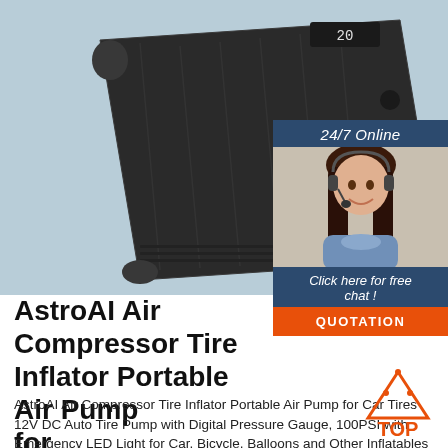[Figure (photo): Close-up photo of a dark grey/black AstroAI portable air compressor tire inflator device with a digital display showing '20' and control buttons on a light blue background.]
[Figure (infographic): Chat widget overlay showing '24/7 Online' header, a woman with a headset smiling, 'Click here for free chat!' text and an orange 'QUOTATION' button.]
AstroAI Air Compressor Tire Inflator Portable Air Pump for ...
AstroAI Air Compressor Tire Inflator Portable Air Pump for Car Tires 12V DC Auto Tire Pump with Digital Pressure Gauge, 100PSI with Emergency LED Light for Car, Bicycle, Balloons and Other Inflatables : Amazon.ca: Automotive
[Figure (logo): TOP logo — orange triangle with dots above, bold orange 'TOP' text.]